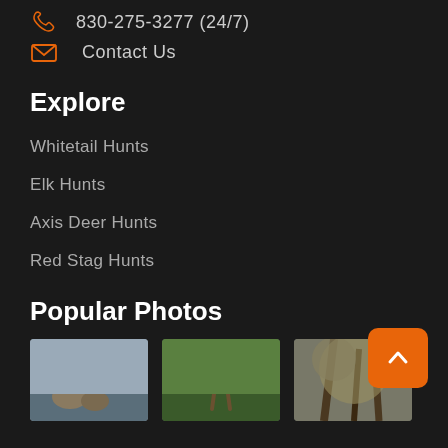830-275-3277 (24/7)
Contact Us
Explore
Whitetail Hunts
Elk Hunts
Axis Deer Hunts
Red Stag Hunts
Popular Photos
[Figure (photo): Three wildlife photos shown as thumbnails at the bottom of the page - deer/animals in natural settings]
[Figure (other): Back to top button - orange rounded square with white chevron up arrow]